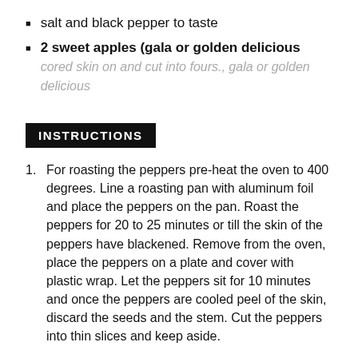salt and black pepper to taste
2 sweet apples (gala or golden delicious
cored skin on and cut into fours., gala or golden delicious
INSTRUCTIONS
1. For roasting the peppers pre-heat the oven to 400 degrees. Line a roasting pan with aluminum foil and place the peppers on the pan. Roast the peppers for 20 to 25 minutes or till the skin of the peppers have blackened. Remove from the oven, place the peppers on a plate and cover with plastic wrap. Let the peppers sit for 10 minutes and once the peppers are cooled peel of the skin, discard the seeds and the stem. Cut the peppers into thin slices and keep aside.
2. In a pan heat 2 tablespoons of olive oil over medium heat. Add the sliced onions and fry till lightly browned. Add the chopped garlic and stir for